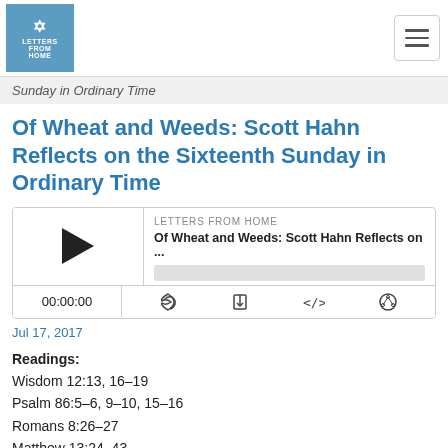Letters From Home [logo] [hamburger menu]
Sunday in Ordinary Time
Of Wheat and Weeds: Scott Hahn Reflects on the Sixteenth Sunday in Ordinary Time
[Figure (screenshot): Podcast player widget showing LETTERS FROM HOME podcast, episode 'Of Wheat and Weeds: Scott Hahn Reflects on ...' with play button, progress bar, time display 00:00:00, and control icons for RSS, download, embed, and share.]
Jul 17, 2017
Readings:
Wisdom 12:13, 16–19
Psalm 86:5–6, 9–10, 15–16
Romans 8:26–27
Matthew 13:24–43
God is always teaching His people, we hear in today's First Reading.